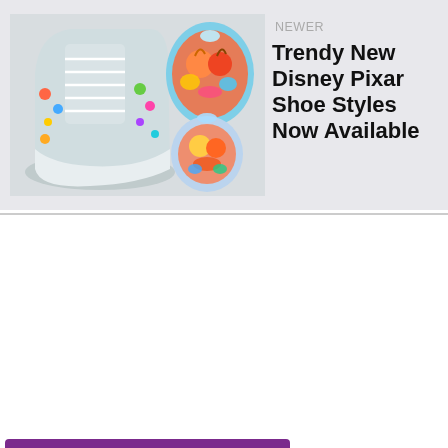[Figure (photo): Two Disney Pixar themed shoes: a white high-top sneaker with colorful character patterns on the left, and two colorful low-top sneakers with Pixar Up characters on the right]
NEWER
Trendy New Disney Pixar Shoe Styles Now Available
Sign Up For Our Newsletter
Email
SUBMIT